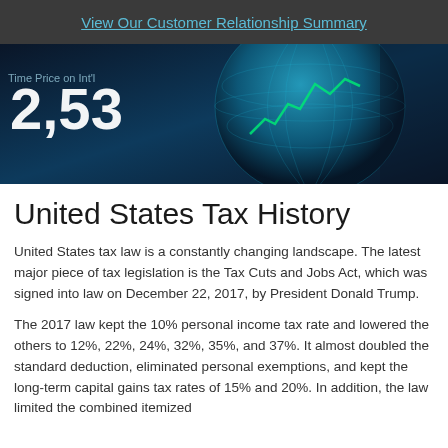View Our Customer Relationship Summary
[Figure (photo): Hero banner image showing a globe and financial ticker numbers including '2,53' on a dark blue background]
United States Tax History
United States tax law is a constantly changing landscape. The latest major piece of tax legislation is the Tax Cuts and Jobs Act, which was signed into law on December 22, 2017, by President Donald Trump.
The 2017 law kept the 10% personal income tax rate and lowered the others to 12%, 22%, 24%, 32%, 35%, and 37%. It almost doubled the standard deduction, eliminated personal exemptions, and kept the long-term capital gains tax rates of 15% and 20%. In addition, the law limited the combined itemized